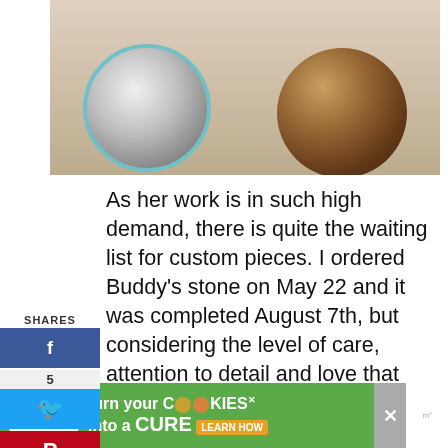[Figure (photo): Close-up photo of two painted stones held in a hand. Left stone shows a white fluffy animal (dog/cat) face in a circular blue-bordered design; right stone shows a brown/dark patterned animal face.]
As her work is in such high demand, there is quite the waiting list for custom pieces. I ordered Buddy's stone on May 22 and it was completed August 7th, but considering the level of care, attention to detail and love that Donna puts into each and every piece, it is worth the wait. Plus, Donna gives 10% of her sales to rescue groups. Beautiful work AND it helps the homeless animals out there?
[Figure (infographic): Social sharing sidebar with SHARES label, Facebook button with count 5, Twitter button, Pinterest button, save/heart button, count 6, and share button]
[Figure (infographic): Advertisement banner: cookies for kids cancer - turn your COOKIES into a CURE LEARN HOW]